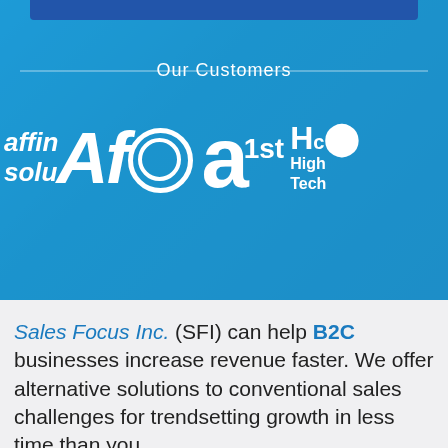Our Customers
[Figure (logo): Customer logos: affin solutions, AfCo, a1st, High Tech Co on blue background]
Sales Focus Inc. (SFI) can help B2C businesses increase revenue faster. We offer alternative solutions to conventional sales challenges for trendsetting growth in less time than you